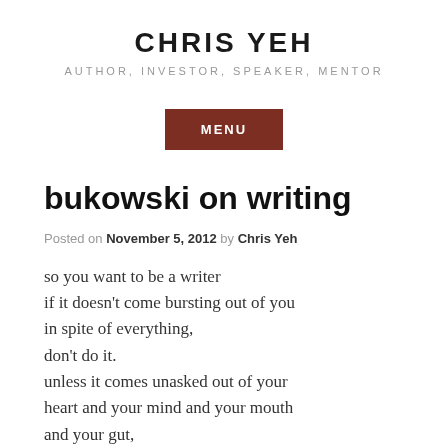CHRIS YEH
AUTHOR, INVESTOR, SPEAKER, MENTOR
MENU
bukowski on writing
Posted on November 5, 2012 by Chris Yeh
so you want to be a writer
if it doesn’t come bursting out of you
in spite of everything,
don’t do it.
unless it comes unasked out of your
heart and your mind and your mouth
and your gut,
don’t do it.